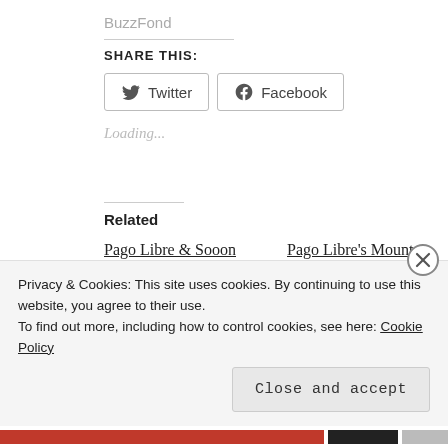BuzzFond
SHARE THIS:
Twitter  Facebook
Loading...
Related
Pago Libre & Sooon Explore Friendship
October 3, 2021
Pago Libre's Mountain Songlines
July 7, 2020
Privacy & Cookies: This site uses cookies. By continuing to use this website, you agree to their use.
To find out more, including how to control cookies, see here: Cookie Policy
Close and accept